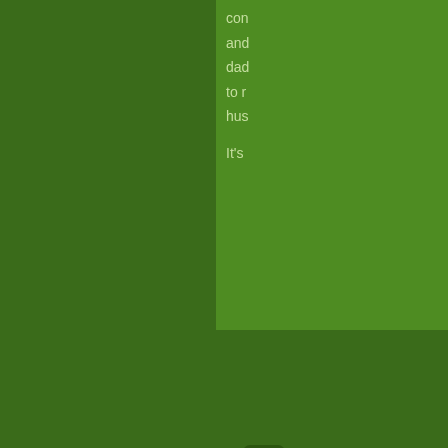con and dao to r hus It's
[Figure (other): Navigation button with left double-arrow («) on dark green rounded rectangle background]
The comments to t
Pl
Winner! We have a haiku contest! Con of Joy for getting th